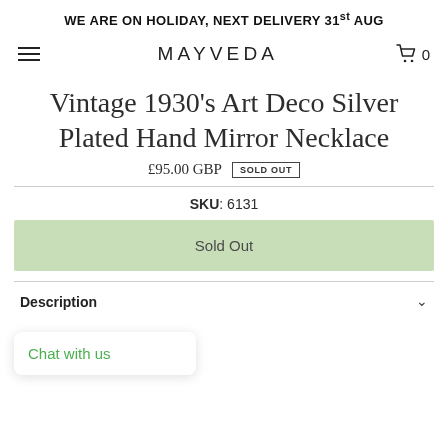WE ARE ON HOLIDAY, NEXT DELIVERY 31st AUG
[Figure (screenshot): MAYVEDA website navigation bar with hamburger menu on left, MAYVEDA logo in center, and cart icon with 0 on right]
Vintage 1930's Art Deco Silver Plated Hand Mirror Necklace
£95.00 GBP  SOLD OUT
SKU: 6131
Sold Out
Chat with us
Description